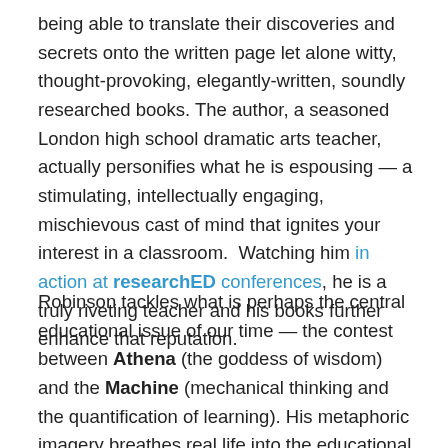being able to translate their discoveries and secrets onto the written page let alone witty, thought-provoking, elegantly-written, soundly researched books. The author, a seasoned London high school dramatic arts teacher, actually personifies what he is espousing — a stimulating, intellectually engaging, mischievous cast of mind that ignites your interest in a classroom.  Watching him in action at researchED conferences, he is a truly riveting teacher and his books further enhance that reputation.
Robinson tackles what is perhaps the central educational issue of our time — the contest between Athena (the goddess of wisdom) and the Machine (mechanical thinking and the quantification of learning). His metaphoric imagery breathes real life into the educational debate and reminds us that the “beating heart” of the school is its